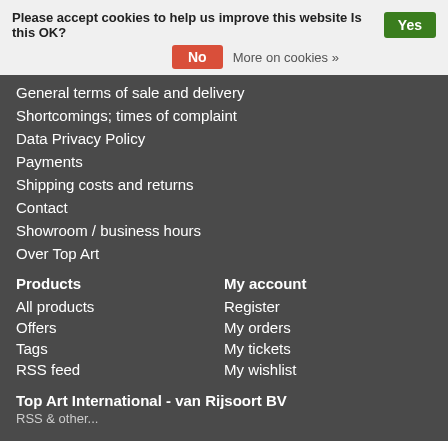Please accept cookies to help us improve this website Is this OK? Yes No More on cookies »
General terms of sale and delivery
Shortcomings; times of complaint
Data Privacy Policy
Payments
Shipping costs and returns
Contact
Showroom / business hours
Over Top Art
Products
All products
Offers
Tags
RSS feed
My account
Register
My orders
My tickets
My wishlist
Top Art International - van Rijsoort BV